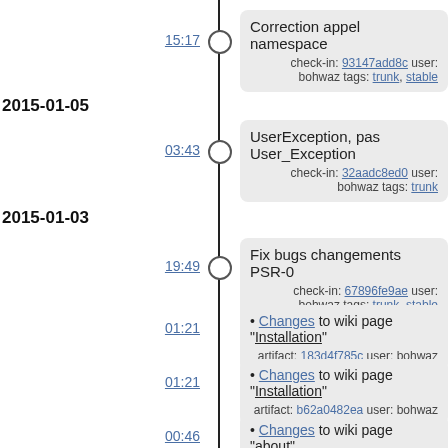15:17
Correction appel namespace
check-in: 93147add8c user: bohwaz tags: trunk, stable
2015-01-05
03:43
UserException, pas User_Exception
check-in: 32aadc8ed0 user: bohwaz tags: trunk
2015-01-03
19:49
Fix bugs changements PSR-0
check-in: 67896fe9ae user: bohwaz tags: trunk, stable
01:21
• Changes to wiki page "Installation"
artifact: 183d4f785c user: bohwaz
01:21
• Changes to wiki page "Installation"
artifact: b62a0482ea user: bohwaz
00:46
• Changes to wiki page "about"